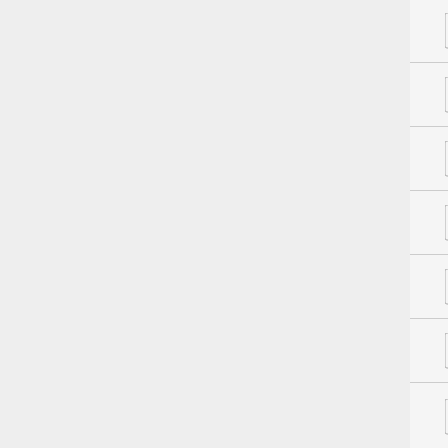SPIRE-ESAC-Mar2011...
SPIRE_DP_Mar2011wo...
SPIRE_DP_Mar2011wo...
SPIRE_DP_Mar2011wo...
SPIRE_DP_Mar2011wo...
SPIRE_DP_Workshop_...
SPIRE_FTS_pipeline.p...